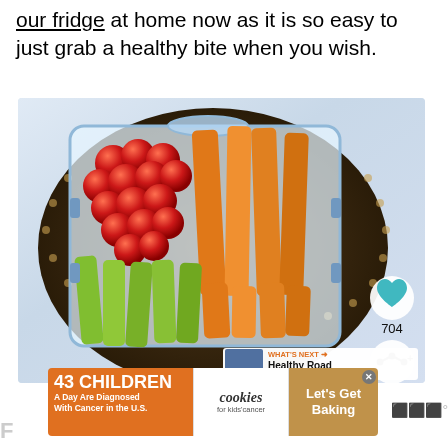our fridge at home now as it is so easy to just grab a healthy bite when you wish.
[Figure (photo): A clear plastic food storage container filled with cherry tomatoes (red), carrot sticks (orange), and celery sticks (green), sitting on a decorative dark plate on a light blue cloth background. A heart/like button shows 704 likes, and a share button is visible on the right side. A 'What's Next' preview for 'Healthy Road Trip Snacks ...' is shown in the bottom-right corner.]
[Figure (infographic): Advertisement banner: '43 Children A Day Are Diagnosed With Cancer in the U.S.' with cookies for kids cancer logo and 'Let's Get Baking' call to action.]